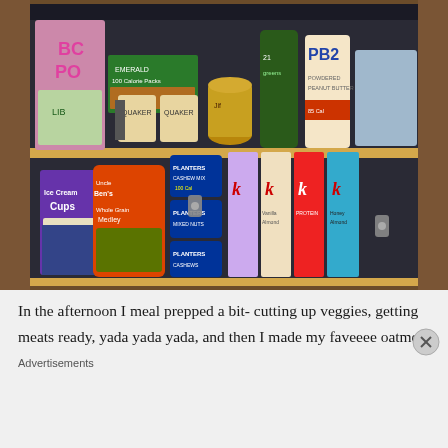[Figure (photo): A wooden pantry cabinet with two shelves filled with snack foods and pantry items. Top shelf contains items including Emerald 100 Calorie Packs, cups of oatmeal, a jar of peanut butter, greens supplement bottle, and PB2 powder. Bottom shelf contains Uncle Ben's Whole Grain Medley, ice cream cups, Planters mixed nuts cans, and several Special K cereal boxes.]
In the afternoon I meal prepped a bit- cutting up veggies, getting meats ready, yada yada yada, and then I made my faveeee oatmea
Advertisements